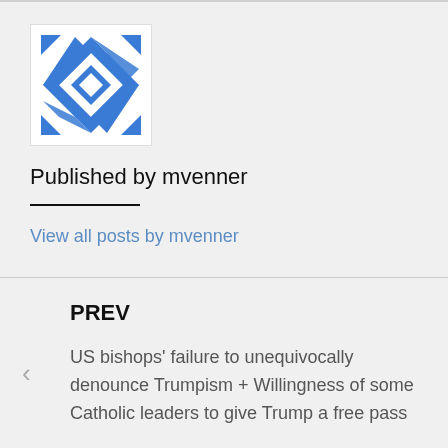[Figure (logo): Blue geometric/abstract avatar logo on white background — a diamond-rotated checkerboard-like pattern with blue and white shapes and spiky edges]
Published by mvenner
View all posts by mvenner
PREV
US bishops' failure to unequivocally denounce Trumpism + Willingness of some Catholic leaders to give Trump a free pass